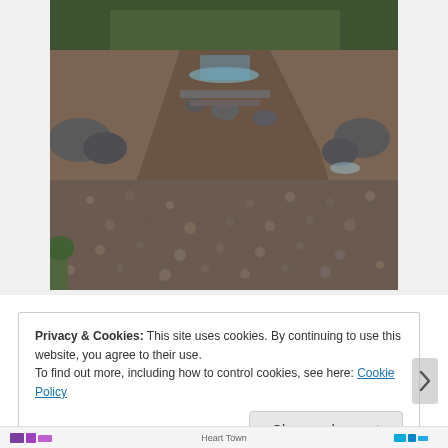[Figure (photo): Outdoor photograph of a rocky stream bed or dry riverbed with large boulders and gravel. The terrain is mostly dry with sparse water visible in the distance. Green vegetation and trees are visible at the top of the image. The scene appears to be a mountain or moorland creek.]
Privacy & Cookies: This site uses cookies. By continuing to use this website, you agree to their use.
To find out more, including how to control cookies, see here: Cookie Policy
Close and accept